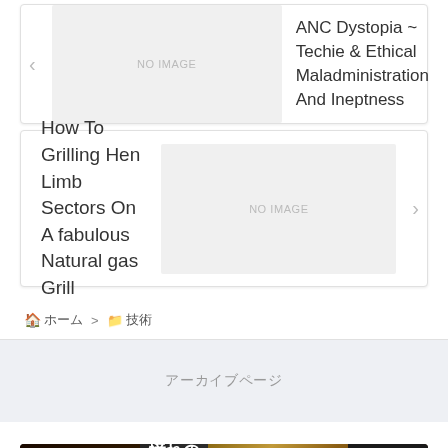ANC Dystopia ~ Techie & Ethical Maladministration And Ineptness
How To Grilling Hen Limb Sectors On A fabulous Natural gas Grill
🏠 ホーム > 📁 技術
アーカイブページ
[Figure (photo): Advertisement banner for Jalan hotel booking: じゃらん厳選 憧れの贅沢ホテル・旅館]